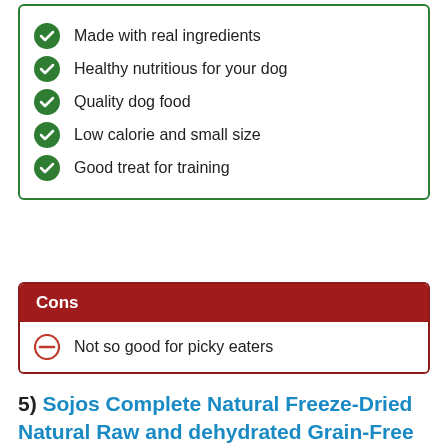Made with real ingredients
Healthy nutritious for your dog
Quality dog food
Low calorie and small size
Good treat for training
Cons
Not so good for picky eaters
5) Sojos Complete Natural Freeze-Dried Natural Raw and dehydrated Grain-Free